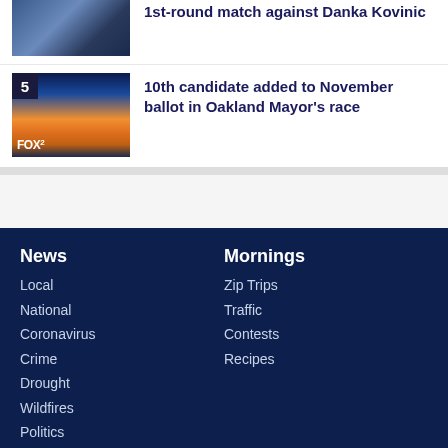[Figure (photo): Sports crowd photo thumbnail (partial, top of page)]
1st-round match against Danka Kovinic
[Figure (photo): Fox 2 news thumbnail showing sunset over Oakland/San Francisco bay area with number 5 badge]
10th candidate added to November ballot in Oakland Mayor's race
News
Local
National
Coronavirus
Crime
Drought
Wildfires
Politics
Business
Mornings
Zip Trips
Traffic
Contests
Recipes